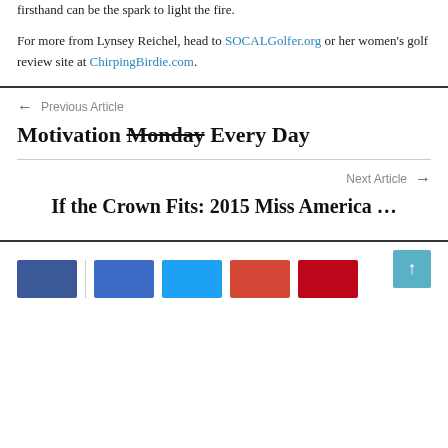firsthand can be the spark to light the fire.

For more from Lynsey Reichel, head to SOCALGolfer.org or her women's golf review site at ChirpingBirdie.com.
Previous Article
Motivation Monday Every Day
Next Article
If the Crown Fits: 2015 Miss America …